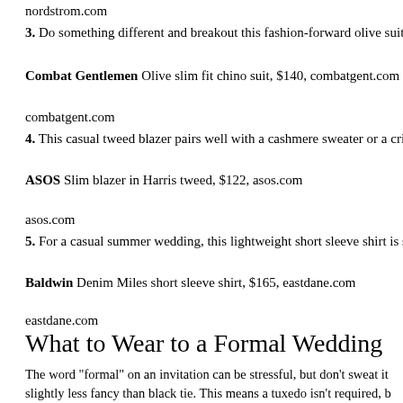nordstrom.com
3. Do something different and breakout this fashion-forward olive suit
Combat Gentlemen Olive slim fit chino suit, $140, combatgent.com
combatgent.com
4. This casual tweed blazer pairs well with a cashmere sweater or a cri
ASOS Slim blazer in Harris tweed, $122, asos.com
asos.com
5. For a casual summer wedding, this lightweight short sleeve shirt is s
Baldwin Denim Miles short sleeve shirt, $165, eastdane.com
eastdane.com
What to Wear to a Formal Wedding
The word "formal" on an invitation can be stressful, but don't sweat it slightly less fancy than black tie. This means a tuxedo isn't required, b one to be appropriate. Don't feel pressured into buying a brand-new dr cocktail dress and statement accessories will work just as well as a flo venue and setting call for something extra-special, then consider savin to formal retailers like Rent the Runway or The Black Tux. Both